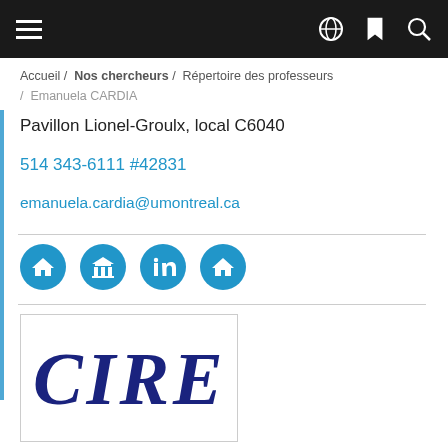≡  🌐  🔖  🔍
Accueil /  Nos chercheurs /  Répertoire des professeurs  /   Emanuela CARDIA
Pavillon Lionel-Groulx, local C6040
514 343-6111 #42831
emanuela.cardia@umontreal.ca
[Figure (logo): Four blue circular social/link icons: home icon, network/institution icon, LinkedIn icon, home icon]
[Figure (logo): CIREQ logo in dark navy serif italic font on white background with border]